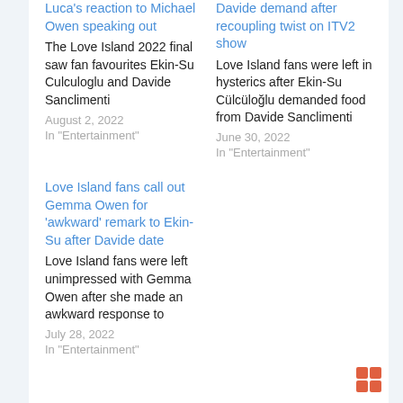Luca's reaction to Michael Owen speaking out
The Love Island 2022 final saw fan favourites Ekin-Su Culculoglu and Davide Sanclimenti
August 2, 2022
In "Entertainment"
Davide demand after recoupling twist on ITV2 show
Love Island fans were left in hysterics after Ekin-Su Cülcüloğlu demanded food from Davide Sanclimenti
June 30, 2022
In "Entertainment"
Love Island fans call out Gemma Owen for 'awkward' remark to Ekin-Su after Davide date
Love Island fans were left unimpressed with Gemma Owen after she made an awkward response to
July 28, 2022
In "Entertainment"